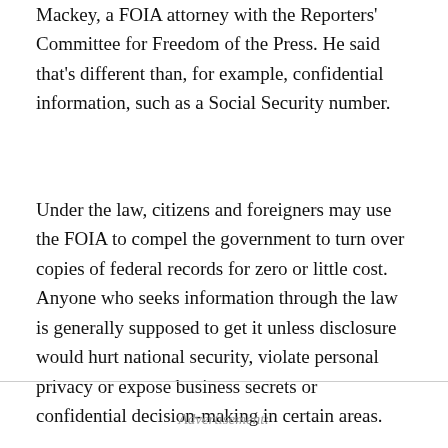Mackey, a FOIA attorney with the Reporters' Committee for Freedom of the Press. He said that's different than, for example, confidential information, such as a Social Security number.
Under the law, citizens and foreigners may use the FOIA to compel the government to turn over copies of federal records for zero or little cost. Anyone who seeks information through the law is generally supposed to get it unless disclosure would hurt national security, violate personal privacy or expose business secrets or confidential decision-making in certain areas.
Advertisement: